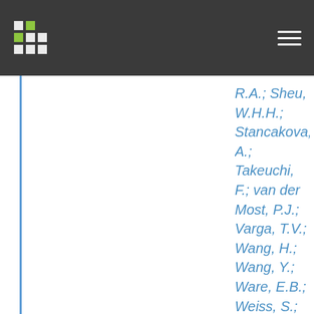R.A.; Sheu, W.H.H.; Stancakova, A.; Takeuchi, F.; van der Most, P.J.; Varga, T.V.; Wang, H.; Wang, Y.; Ware, E.B.; Weiss, S.; Wen, W.; Yanek, L.R.; Zhang, W.; Zhao, J.H.; Afag, S.; Alfred, T.; Amin, N.; Arking, D.; Aung, T.; Barr, R.G.; Bielak, L.F.; Boerwincle, E.; Bottinger, E.P.; Braund, P.S.; Brody, J.A.; Broeckel, U.; Cabrera, C.P.; Cade, B.; Caizheng, Y.; Campbell, A.; Canouil, M.; Chakravarti, A.;